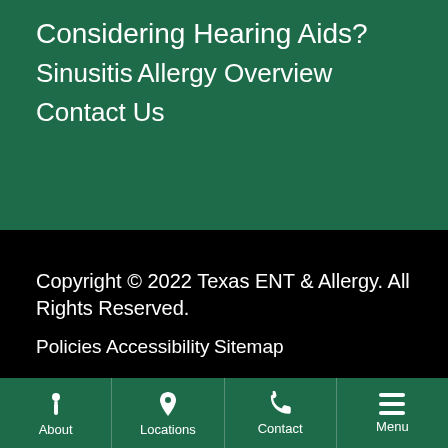Considering Hearing Aids?
Sinusitis
Allergy Overview
Contact Us
Copyright © 2022 Texas ENT & Allergy. All Rights Reserved.
Policies
Accessibility
Sitemap
About  Locations  Contact  Menu